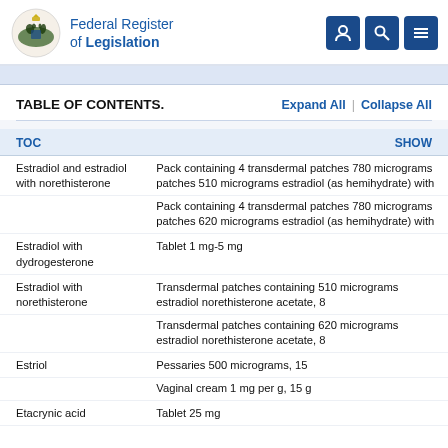Federal Register of Legislation
TABLE OF CONTENTS.   Expand All   |   Collapse All
| TOC | SHOW |
| --- | --- |
| Estradiol and estradiol with norethisterone | Pack containing 4 transdermal patches 780 micrograms patches 510 micrograms estradiol (as hemihydrate) with |
|  | Pack containing 4 transdermal patches 780 micrograms patches 620 micrograms estradiol (as hemihydrate) with |
| Estradiol with dydrogesterone | Tablet 1 mg-5 mg |
| Estradiol with norethisterone | Transdermal patches containing 510 micrograms estradiol norethisterone acetate, 8 |
|  | Transdermal patches containing 620 micrograms estradiol norethisterone acetate, 8 |
| Estriol | Pessaries 500 micrograms, 15 |
|  | Vaginal cream 1 mg per g, 15 g |
| Etacrynic acid | Tablet 25 mg |